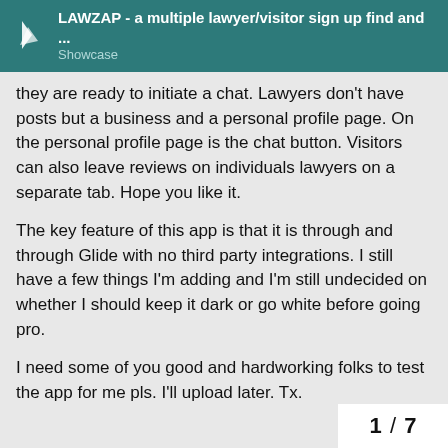LAWZAP - a multiple lawyer/visitor sign up find and ... Showcase
they are ready to initiate a chat. Lawyers don't have posts but a business and a personal profile page. On the personal profile page is the chat button. Visitors can also leave reviews on individuals lawyers on a separate tab. Hope you like it.
The key feature of this app is that it is through and through Glide with no third party integrations. I still have a few things I'm adding and I'm still undecided on whether I should keep it dark or go white before going pro.
I need some of you good and hardworking folks to test the app for me pls. I'll upload later. Tx.
1 / 7